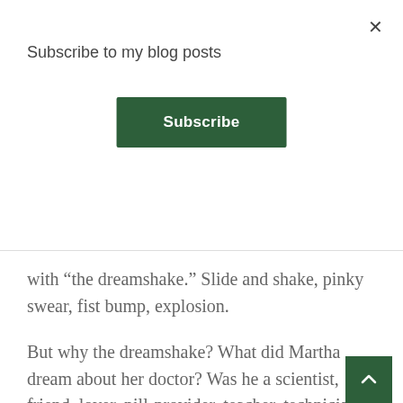Subscribe to my blog posts
Subscribe
with “the dreamshake.” Slide and shake, pinky swear, fist bump, explosion.
But why the dreamshake? What did Martha dream about her doctor? Was he a scientist, friend, lover, pill-provider, teacher, technician—or savior?
In a mammoth industry—in 2014, $3 trillion, or $9,523 per American, was spent on health care—competing visions for reform abound. Nussbaum, a 41-year-old